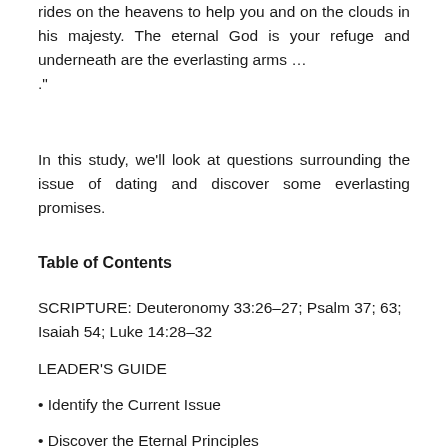rides on the heavens to help you and on the clouds in his majesty. The eternal God is your refuge and underneath are the everlasting arms … ."
In this study, we'll look at questions surrounding the issue of dating and discover some everlasting promises.
Table of Contents
SCRIPTURE: Deuteronomy 33:26–27; Psalm 37; 63; Isaiah 54; Luke 14:28–32
LEADER'S GUIDE
• Identify the Current Issue
• Discover the Eternal Principles